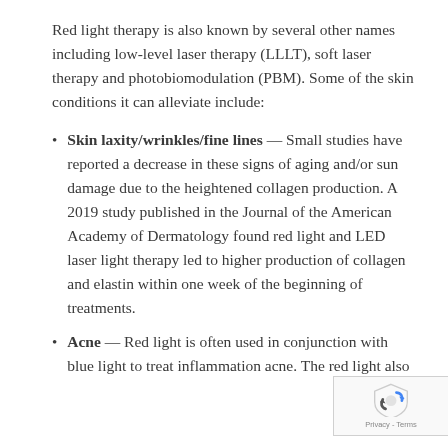Red light therapy is also known by several other names including low-level laser therapy (LLLT), soft laser therapy and photobiomodulation (PBM). Some of the skin conditions it can alleviate include:
Skin laxity/wrinkles/fine lines — Small studies have reported a decrease in these signs of aging and/or sun damage due to the heightened collagen production. A 2019 study published in the Journal of the American Academy of Dermatology found red light and LED laser light therapy led to higher production of collagen and elastin within one week of the beginning of treatments.
Acne — Red light is often used in conjunction with blue light to treat inflammation acne. The red light also...
[Figure (logo): Google reCAPTCHA badge with shield logo and 'Privacy - Terms' text]